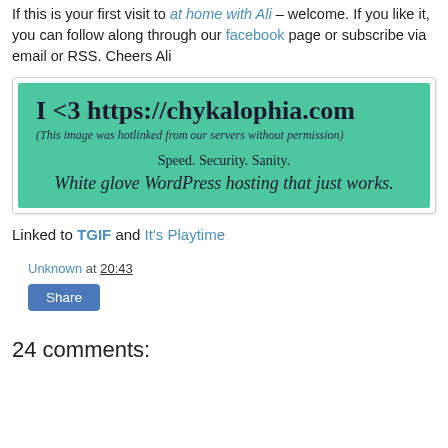DIY pretend play idea for all our furry friends. I can't wait.

If this is your first visit to at home with Ali – welcome. If you like it, you can follow along through our facebook page or subscribe via email or RSS. Cheers Ali
[Figure (infographic): Green banner ad reading 'I <3 https://chykalophia.com' with subtitle '(This image was hotlinked from our servers without permission)' and tagline 'Speed. Security. Sanity. White glove WordPress hosting that just works.']
Linked to TGIF and It's Playtime
Unknown at 20:43
Share
24 comments: